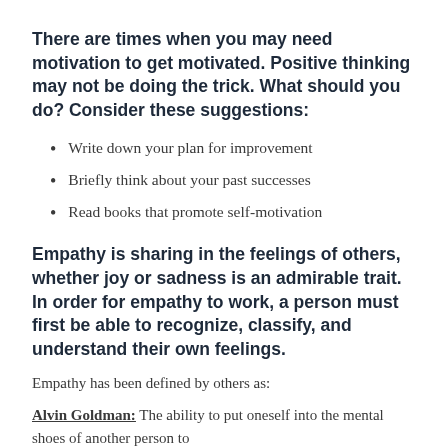There are times when you may need motivation to get motivated. Positive thinking may not be doing the trick. What should you do? Consider these suggestions:
Write down your plan for improvement
Briefly think about your past successes
Read books that promote self-motivation
Empathy is sharing in the feelings of others, whether joy or sadness is an admirable trait. In order for empathy to work, a person must first be able to recognize, classify, and understand their own feelings.
Empathy has been defined by others as:
Alvin Goldman: The ability to put oneself into the mental shoes of another person to